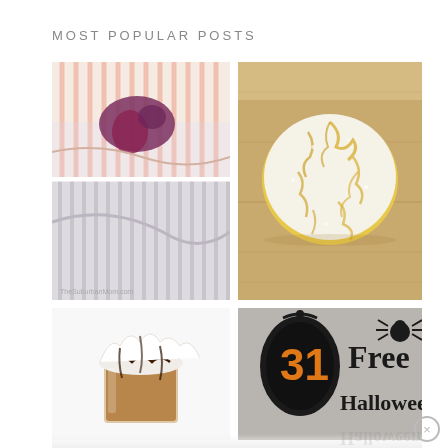MOST POPULAR POSTS
[Figure (photo): Two stacked photos: top shows striped shirt with purple/red stain on plastic wrap; bottom shows striped fabric/shirt laid out, with watermark text]
[Figure (photo): A round lemon crinkle cookie dusted with powdered sugar on a wooden cutting board]
[Figure (photo): A glass topped with whipped cream and chocolate sauce drizzle, resembling a mocha or hot chocolate drink]
[Figure (photo): Gray background with black oval frame containing orange '31', spider graphic, and text '31 Free Halloween Printables']